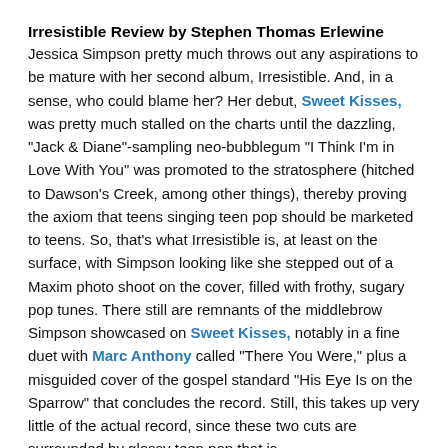Irresistible Review by Stephen Thomas Erlewine
Jessica Simpson pretty much throws out any aspirations to be mature with her second album, Irresistible. And, in a sense, who could blame her? Her debut, Sweet Kisses, was pretty much stalled on the charts until the dazzling, "Jack & Diane"-sampling neo-bubblegum "I Think I'm in Love With You" was promoted to the stratosphere (hitched to Dawson's Creek, among other things), thereby proving the axiom that teens singing teen pop should be marketed to teens. So, that's what Irresistible is, at least on the surface, with Simpson looking like she stepped out of a Maxim photo shoot on the cover, filled with frothy, sugary pop tunes. There still are remnants of the middlebrow Simpson showcased on Sweet Kisses, notably in a fine duet with Marc Anthony called "There You Were," plus a misguided cover of the gospel standard "His Eye Is on the Sparrow" that concludes the record. Still, this takes up very little of the actual record, since these two cuts are surrounded by glossy teen pop that is